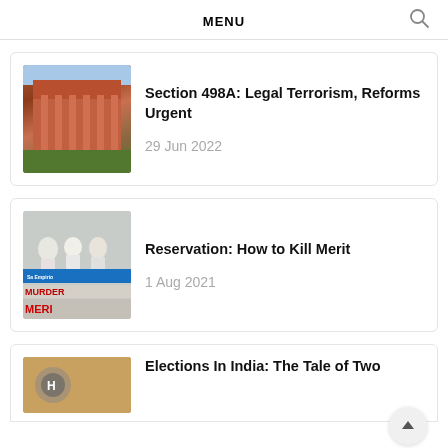MENU
Section 498A: Legal Terrorism, Reforms Urgent
29 Jun 2022
Reservation: How to Kill Merit
1 Aug 2021
Elections In India: The Tale of Two